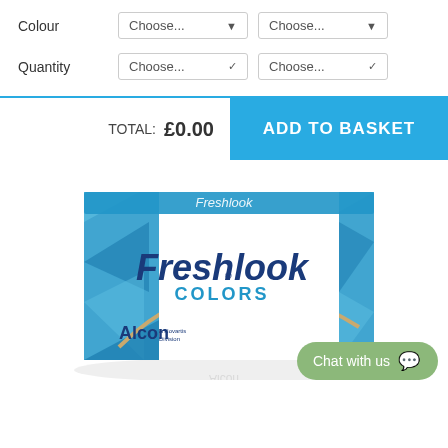Colour
Choose... (dropdown 1)
Choose... (dropdown 2)
Quantity
Choose... (dropdown 3)
Choose... (dropdown 4)
TOTAL: £0.00
ADD TO BASKET
[Figure (photo): Freshlook Colors contact lens box by Alcon, a Novartis Division. White and blue box with geometric blue triangle pattern, featuring 'Freshlook' in dark blue and 'COLORS' in blue below it. Box reflection visible underneath.]
Chat with us